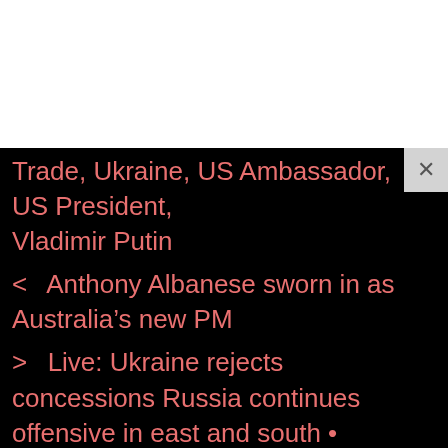Trade, Ukraine, US Ambassador, US President, Vladimir Putin
< Anthony Albanese sworn in as Australia's new PM
> Live: Ukraine rejects concessions Russia continues offensive in east and south • FRANCE 24 English